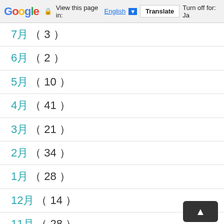Google | View this page in: English | Translate | Turn off for: Ja
7月 ( 3 )
6月 ( 2 )
5月 ( 10 )
4月 ( 41 )
3月 ( 21 )
2月 ( 34 )
1月 ( 28 )
12月 ( 14 )
11月 ( 28 )
10月 ( 51 )